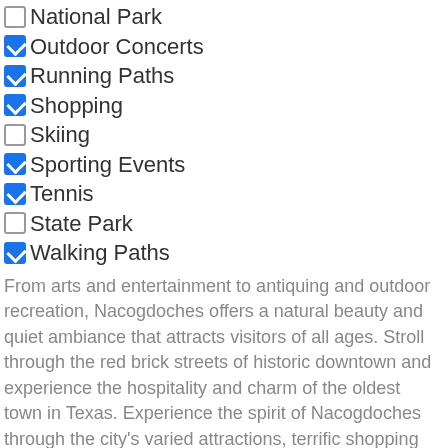☐ National Park
☑ Outdoor Concerts
☑ Running Paths
☑ Shopping
☐ Skiing
☑ Sporting Events
☑ Tennis
☐ State Park
☑ Walking Paths
From arts and entertainment to antiquing and outdoor recreation, Nacogdoches offers a natural beauty and quiet ambiance that attracts visitors of all ages. Stroll through the red brick streets of historic downtown and experience the hospitality and charm of the oldest town in Texas. Experience the spirit of Nacogdoches through the city's varied attractions, terrific shopping and comfortable places to stay.
The Nacogdoches County Chamber, and the Nacogdoches Convention and Visitors